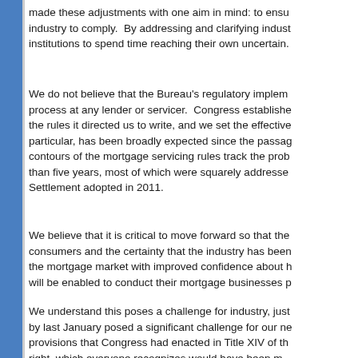made these adjustments with one aim in mind: to ensure the industry to comply. By addressing and clarifying industry institutions to spend time reaching their own uncertain.
We do not believe that the Bureau's regulatory implementation process at any lender or servicer. Congress established the rules it directed us to write, and we set the effective particular, has been broadly expected since the passage contours of the mortgage servicing rules track the problems than five years, most of which were squarely addressed. Settlement adopted in 2011.
We believe that it is critical to move forward so that the consumers and the certainty that the industry has been the mortgage market with improved confidence about how will be enabled to conduct their mortgage businesses properly.
We understand this poses a challenge for industry, just as by last January posed a significant challenge for our new provisions that Congress had enacted in Title XIV of the right, which everyone recognizes would have been more.